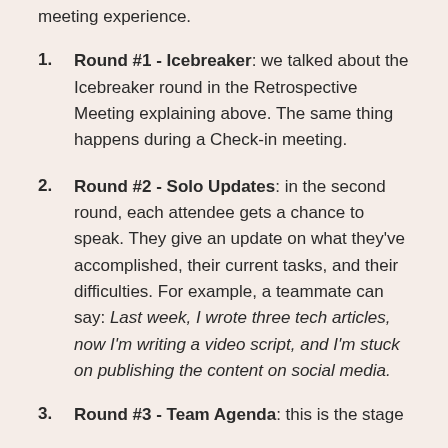meeting experience.
Round #1 - Icebreaker: we talked about the Icebreaker round in the Retrospective Meeting explaining above. The same thing happens during a Check-in meeting.
Round #2 - Solo Updates: in the second round, each attendee gets a chance to speak. They give an update on what they've accomplished, their current tasks, and their difficulties. For example, a teammate can say: Last week, I wrote three tech articles, now I'm writing a video script, and I'm stuck on publishing the content on social media.
Round #3 - Team Agenda: this is the stage